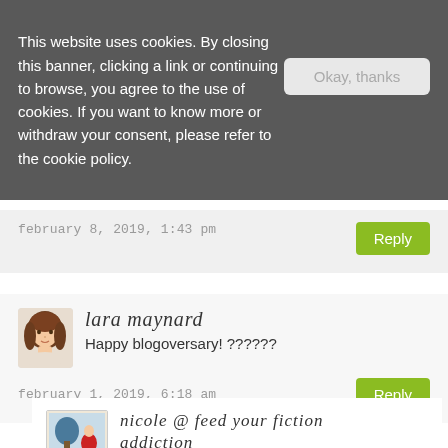This website uses cookies. By closing this banner, clicking a link or continuing to browse, you agree to the use of cookies. If you want to know more or withdraw your consent, please refer to the cookie policy.
Okay, thanks
february 8, 2019, 1:43 pm
Reply
lara maynard
Happy blogoversary! ??????
february 1, 2019, 6:18 am
Reply
nicole @ feed your fiction addiction